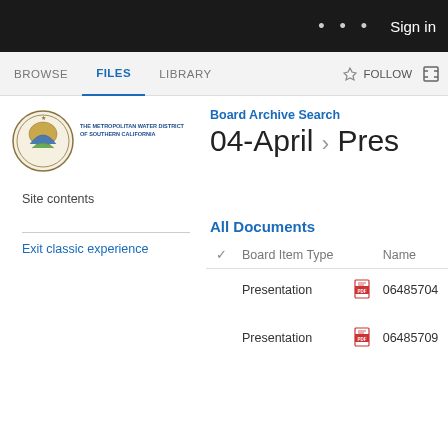Sign in
BROWSE   FILES   LIBRARY   FOLLOW
[Figure (logo): Metropolitan Water District of Southern California seal/logo with text]
Board Archive Search — 04-April › Pres…
Site contents
Exit classic experience
All Documents
| ✓ | Board Item Type |  | Name |
| --- | --- | --- | --- |
|  | Presentation | PDF | 06485704 |
|  | Presentation | PDF | 06485709 |